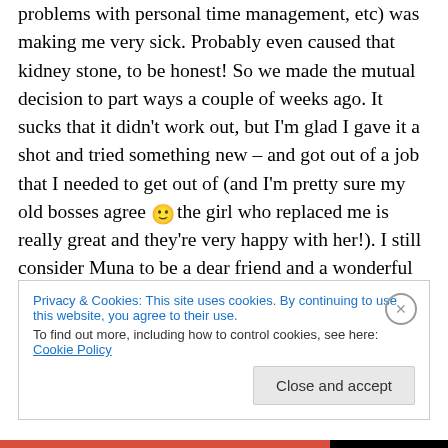problems with personal time management, etc) was making me very sick. Probably even caused that kidney stone, to be honest! So we made the mutual decision to part ways a couple of weeks ago. It sucks that it didn't work out, but I'm glad I gave it a shot and tried something new – and got out of a job that I needed to get out of (and I'm pretty sure my old bosses agree 🙂 the girl who replaced me is really great and they're very happy with her!). I still consider Muna to be a dear friend and a wonderful person who I look up to. We just didn't work well together, that's all 🙂 And honestly, I think the timing came
Privacy & Cookies: This site uses cookies. By continuing to use this website, you agree to their use. To find out more, including how to control cookies, see here: Cookie Policy